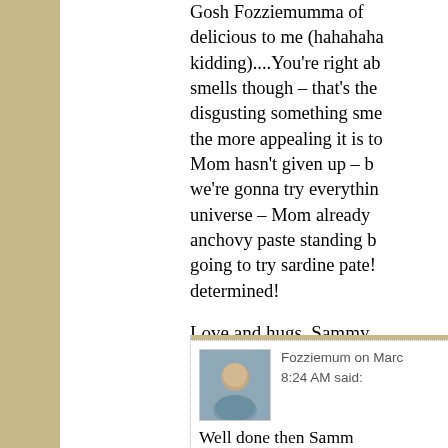Gosh Fozziemumma of delicious to me (hahahaha kidding)....You're right ab smells though – that's the disgusting something sme the more appealing it is to Mom hasn't given up – b we're gonna try everythin universe – Mom already anchovy paste standing b going to try sardine pate! determined!

Love and hugs, Sammy
★ Liked by 1 person
Fozziemum on Marc 8:24 AM said:

Well done then Samm stankier the better...th used to catch the fera